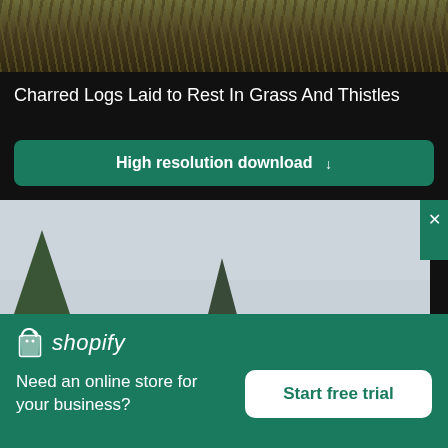[Figure (photo): Partial view of charred logs, grass and thistles – top portion of nature photo, dark background with dried grass and foliage]
Charred Logs Laid to Rest In Grass And Thistles
High resolution download ↓
[Figure (photo): Trees with pine/fir silhouettes against a pale overcast sky – partial lower portion of nature photo]
[Figure (logo): Shopify logo – shopping bag icon with 'shopify' in italic white text on green background]
Need an online store for your business?
Start free trial